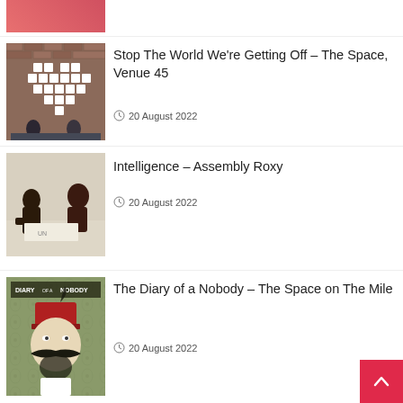[Figure (photo): Partial top thumbnail showing a woman's face with pink background]
[Figure (photo): Two people sitting against a brick wall with a heart made of tiles]
Stop The World We're Getting Off – The Space, Venue 45
20 August 2022
[Figure (photo): Two people with one leaning on a surface with papers]
Intelligence – Assembly Roxy
20 August 2022
[Figure (photo): Diary of a Nobody promotional image with a man in a red fez hat and large mustache]
The Diary of a Nobody – The Space on The Mile
20 August 2022